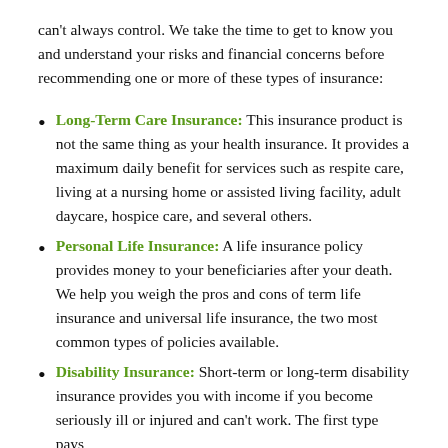can't always control. We take the time to get to know you and understand your risks and financial concerns before recommending one or more of these types of insurance:
Long-Term Care Insurance: This insurance product is not the same thing as your health insurance. It provides a maximum daily benefit for services such as respite care, living at a nursing home or assisted living facility, adult daycare, hospice care, and several others.
Personal Life Insurance: A life insurance policy provides money to your beneficiaries after your death. We help you weigh the pros and cons of term life insurance and universal life insurance, the two most common types of policies available.
Disability Insurance: Short-term or long-term disability insurance provides you with income if you become seriously ill or injured and can't work. The first type pays